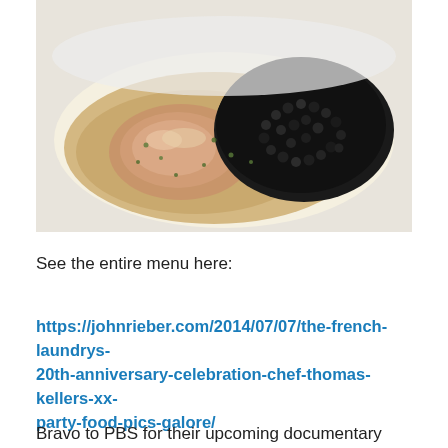[Figure (photo): Close-up food photograph of an oyster or scallop on a spoon-shaped dish, topped with a large mound of black caviar, in a light creamy broth with scattered green chive pieces, on a white surface.]
See the entire menu here:
https://johnrieber.com/2014/07/07/the-french-laundrys-20th-anniversary-celebration-chef-thomas-kellers-xx-party-food-pics-galore/
Bravo to PBS for their upcoming documentary and to